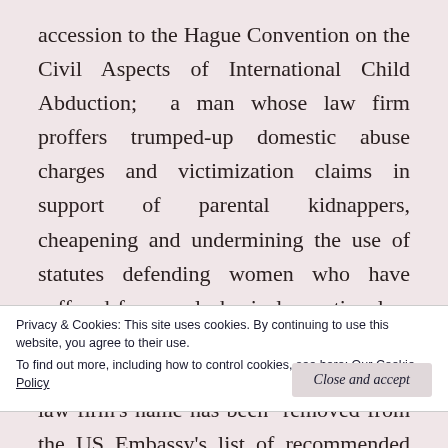accession to the Hague Convention on the Civil Aspects of International Child Abduction;  a man whose law firm proffers trumped-up domestic abuse charges and victimization claims in support of parental kidnappers, cheapening and undermining the use of statutes defending women who have suffered from real physical, emotional or psychological abuse and most need the protection that those statutes provide. The law firm’s name has been  removed from the US Embassy’s list of recommended attorneys made available to non-Japanese seeking legal support in Japan, due to its support of
Privacy & Cookies: This site uses cookies. By continuing to use this website, you agree to their use.
To find out more, including how to control cookies, see here: Our Cookie Policy
Close and accept